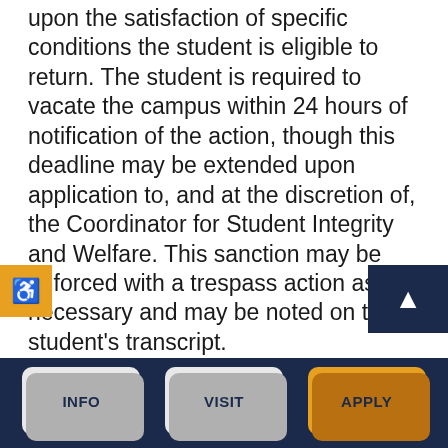upon the satisfaction of specific conditions the student is eligible to return. The student is required to vacate the campus within 24 hours of notification of the action, though this deadline may be extended upon application to, and at the discretion of, the Coordinator for Student Integrity and Welfare. This sanction may be enforced with a trespass action as necessary and may be noted on the student's transcript.
INFO | VISIT | APPLY